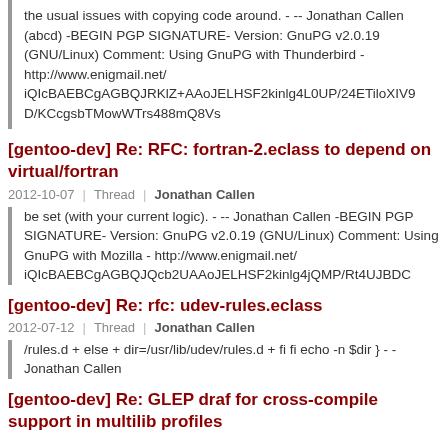the usual issues with copying code around. - -- Jonathan Callen (abcd) -BEGIN PGP SIGNATURE- Version: GnuPG v2.0.19 (GNU/Linux) Comment: Using GnuPG with Thunderbird - http://www.enigmail.net/ iQIcBAEBCgAGBQJRKlZ+AAoJELHSF2kinlg4L0UP/24ETiloXIV9 D/KCcgsbTMowWTrs488mQ8Vs
[gentoo-dev] Re: RFC: fortran-2.eclass to depend on virtual/fortran
2012-10-07 | Thread | Jonathan Callen
be set (with your current logic). - -- Jonathan Callen -BEGIN PGP SIGNATURE- Version: GnuPG v2.0.19 (GNU/Linux) Comment: Using GnuPG with Mozilla - http://www.enigmail.net/ iQIcBAEBCgAGBQJQcb2UAAoJELHSF2kinlg4jQMP/Rt4UJBDC
[gentoo-dev] Re: rfc: udev-rules.eclass
2012-07-12 | Thread | Jonathan Callen
/rules.d + else + dir=/usr/lib/udev/rules.d + fi fi echo -n $dir } - - Jonathan Callen
[gentoo-dev] Re: GLEP draf for cross-compile support in multilib profiles